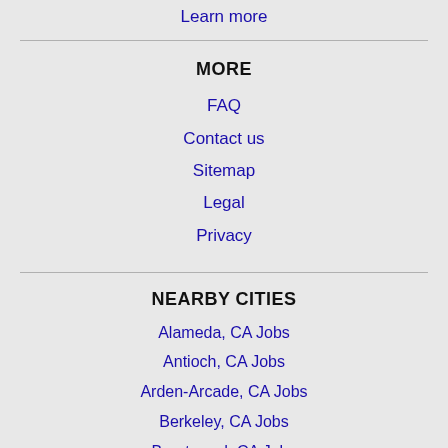Learn more
MORE
FAQ
Contact us
Sitemap
Legal
Privacy
NEARBY CITIES
Alameda, CA Jobs
Antioch, CA Jobs
Arden-Arcade, CA Jobs
Berkeley, CA Jobs
Brentwood, CA Jobs
Carmichael, CA Jobs
Castro Valley, CA Jobs